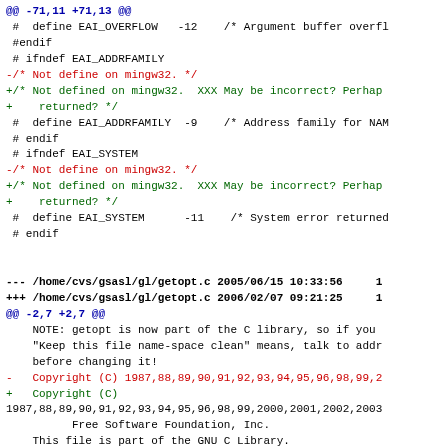Diff/patch code showing changes to EAI error definitions and getopt.c copyright lines